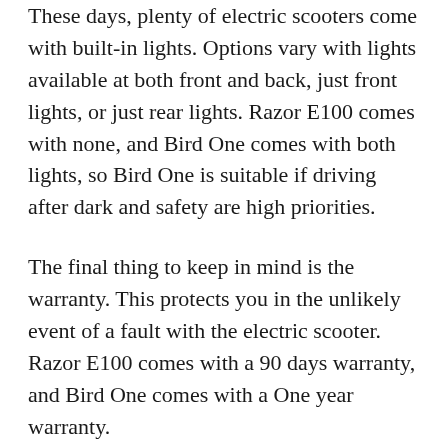These days, plenty of electric scooters come with built-in lights. Options vary with lights available at both front and back, just front lights, or just rear lights. Razor E100 comes with none, and Bird One comes with both lights, so Bird One is suitable if driving after dark and safety are high priorities.
The final thing to keep in mind is the warranty. This protects you in the unlikely event of a fault with the electric scooter. Razor E100 comes with a 90 days warranty, and Bird One comes with a One year warranty.
And there you have it, a full round up of Razor